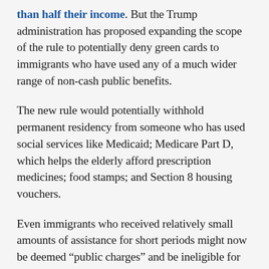than half their income. But the Trump administration has proposed expanding the scope of the rule to potentially deny green cards to immigrants who have used any of a much wider range of non-cash public benefits.
The new rule would potentially withhold permanent residency from someone who has used social services like Medicaid; Medicare Part D, which helps the elderly afford prescription medicines; food stamps; and Section 8 housing vouchers.
Even immigrants who received relatively small amounts of assistance for short periods might now be deemed “public charges” and be ineligible for green cards. In the worst case,